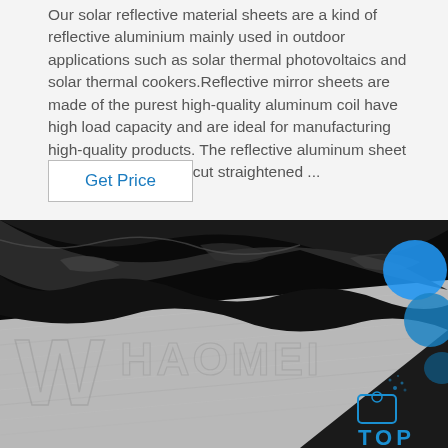Our solar reflective material sheets are a kind of reflective aluminium mainly used in outdoor applications such as solar thermal photovoltaics and solar thermal cookers.Reflective mirror sheets are made of the purest high-quality aluminum coil have high load capacity and are ideal for manufacturing high-quality products. The reflective aluminum sheet metal can be printed cut straightened ...
Get Price
[Figure (photo): Close-up photograph of a reflective aluminum sheet with a protective black film being peeled back. The aluminum surface shows a brushed metallic finish. A watermark reading 'HAOMEI' is visible on the sheet. Blue decorative circles appear in the top right corner. A 'TOP' logo with a spray-paint icon appears in the bottom right corner.]